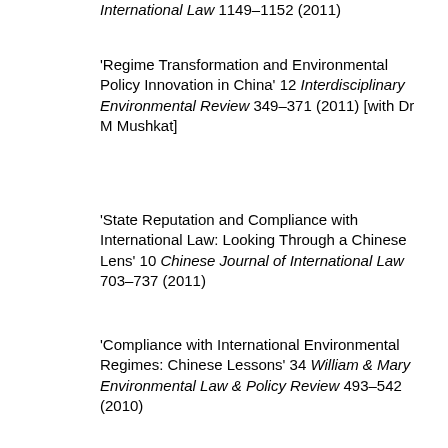International Law 1149–1152 (2011)
'Regime Transformation and Environmental Policy Innovation in China' 12 Interdisciplinary Environmental Review 349–371 (2011) [with Dr M Mushkat]
'State Reputation and Compliance with International Law: Looking Through a Chinese Lens' 10 Chinese Journal of International Law 703–737 (2011)
'Compliance with International Environmental Regimes: Chinese Lessons' 34 William & Mary Environmental Law & Policy Review 493–542 (2010)